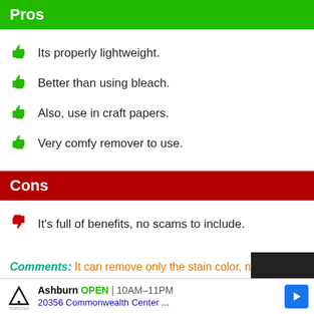Pros
Its properly lightweight.
Better than using bleach.
Also, use in craft papers.
Very comfy remover to use.
Cons
It's full of benefits, no scams to include.
Comments: It can remove only the stain color, not remove all the fabric colors. It is one kind of wash-off chemical that removes the lightweight bleed color.
[Figure (infographic): Advertisement banner for TopGolf Ashburn: OPEN 10AM-11PM, 20356 Commonwealth Center...]